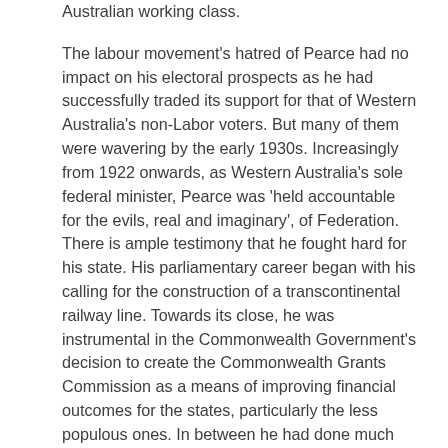Australian working class.

The labour movement's hatred of Pearce had no impact on his electoral prospects as he had successfully traded its support for that of Western Australia's non-Labor voters. But many of them were wavering by the early 1930s. Increasingly from 1922 onwards, as Western Australia's sole federal minister, Pearce was 'held accountable for the evils, real and imaginary', of Federation. There is ample testimony that he fought hard for his state. His parliamentary career began with his calling for the construction of a transcontinental railway line. Towards its close, he was instrumental in the Commonwealth Government's decision to create the Commonwealth Grants Commission as a means of improving financial outcomes for the states, particularly the less populous ones. In between he had done much else. But he never paraded his loyalty in the manner of the more strident states' rights champions. Thus he became vulnerable when he refused to support the Western Australian secession movement as it gathered momentum in 1932 and 1933. He was among a visiting group of Commonwealth parliamentarians who were jeered and abused when they tried to talk Western Australians out of voting to secede. And even though secession soon lost its appeal, the leading secessionist body, the Dominion League of Western Australia,